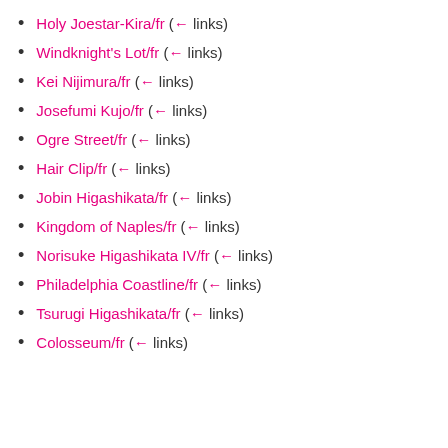Holy Joestar-Kira/fr (← links)
Windknight's Lot/fr (← links)
Kei Nijimura/fr (← links)
Josefumi Kujo/fr (← links)
Ogre Street/fr (← links)
Hair Clip/fr (← links)
Jobin Higashikata/fr (← links)
Kingdom of Naples/fr (← links)
Norisuke Higashikata IV/fr (← links)
Philadelphia Coastline/fr (← links)
Tsurugi Higashikata/fr (← links)
Colosseum/fr (← links)